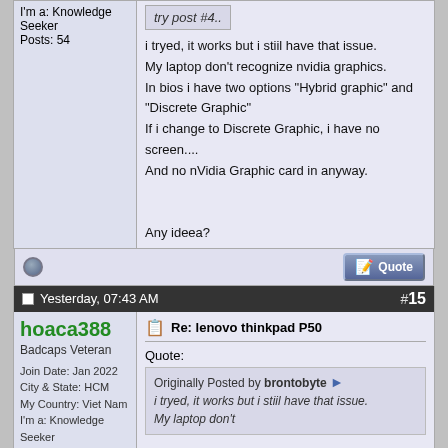I'm a: Knowledge Seeker
Posts: 54
try post #4..
i tryed, it works but i stiil have that issue.
My laptop don't recognize nvidia graphics.
In bios i have two options "Hybrid graphic" and "Discrete Graphic"
If i change to Discrete Graphic, i have no screen....
And no nVidia Graphic card in anyway.

Any ideea?
Yesterday, 07:43 AM
#15
hoaca388
Badcaps Veteran

Join Date: Jan 2022
City & State: HCM
My Country: Viet Nam
I'm a: Knowledge Seeker
Posts: 2,239
Re: lenovo thinkpad P50
Quote:
Originally Posted by brontobyte
i tryed, it works but i stiil have that issue.
My laptop don't